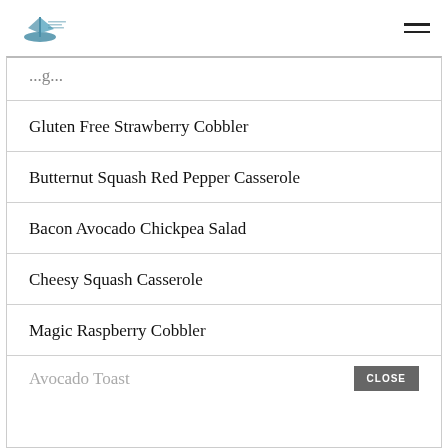Logo and hamburger menu navigation header
Gluten Free Strawberry Cobbler
Butternut Squash Red Pepper Casserole
Bacon Avocado Chickpea Salad
Cheesy Squash Casserole
Magic Raspberry Cobbler
Avocado Toast